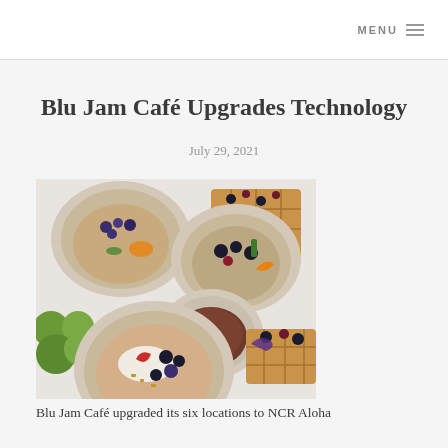MENU
Blu Jam Café Upgrades Technology
July 29, 2021
[Figure (photo): Overhead view of multiple ceramic bowls filled with oatmeal porridge topped with berries, fruits, granola, a cup of coffee/tea, waffles with berries, and green flowers on a white surface]
Blu Jam Café upgraded its six locations to NCR Aloha